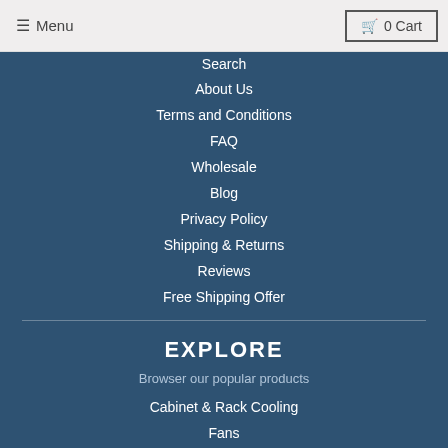☰ Menu   🛒 0 Cart
Search
About Us
Terms and Conditions
FAQ
Wholesale
Blog
Privacy Policy
Shipping & Returns
Reviews
Free Shipping Offer
EXPLORE
Browser our popular products
Cabinet & Rack Cooling
Fans
Grills, Filters, Mounts
Computer Cooling